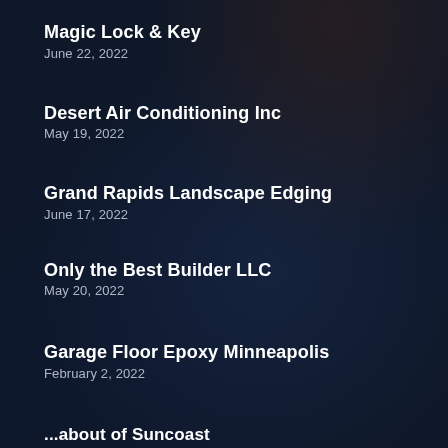Magic Lock & Key
June 22, 2022
Desert Air Conditioning Inc
May 19, 2022
Grand Rapids Landscape Edging
June 17, 2022
Only the Best Builder LLC
May 20, 2022
Garage Floor Epoxy Minneapolis
February 2, 2022
...about of Suncoast